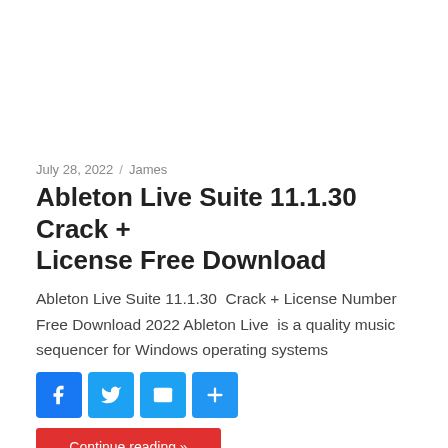July 28, 2022  /  James
Ableton Live Suite 11.1.30 Crack + License Free Download
Ableton Live Suite 11.1.30  Crack + License Number Free Download 2022 Ableton Live  is a quality music sequencer for Windows operating systems
[Figure (other): Social share buttons: Facebook, Twitter, Email, More]
Continue reading »